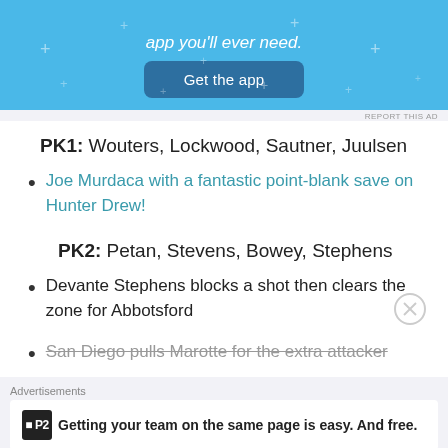[Figure (screenshot): Blue app advertisement banner with 'app you'll ever need.' text and a 'Get the app' button]
REPORT THIS AD
PK1: Wouters, Lockwood, Sautner, Juulsen
Joe Murdaca with a fantastic point-blank save on Hunter Drew!
PK2: Petan, Stevens, Bowey, Stephens
Devante Stephens blocks a shot then clears the zone for Abbotsford
San Diego pulls Marotte for the extra attacker
Advertisements
[Figure (screenshot): P2 advertisement: 'Getting your team on the same page is easy. And free.']